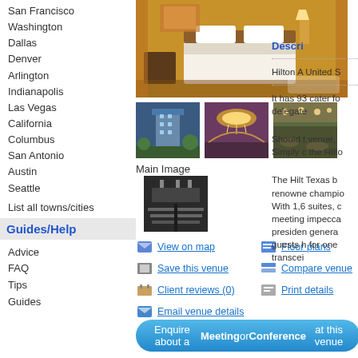San Francisco
Washington
Dallas
Denver
Arlington
Indianapolis
Las Vegas
California
Columbus
San Antonio
Austin
Seattle
List all towns/cities
Guides/Help
Advice
FAQ
Tips
Guides
[Figure (photo): Hotel room with bed, warm lighting]
[Figure (photo): Hotel exterior tower]
[Figure (photo): Hotel ballroom chandeliers]
[Figure (photo): Hotel event space]
Main Image
[Figure (photo): Conference hall with rows of tables]
View on map
Floor plans
Save this venue
Compare venue
Client reviews (0)
Print details
Email venue details
Enquire about a Meeting or Conference at this venue
Descri
Hilton A United S
It has 93 cater fo delegate
Should t venue, Simply c the Hilto
The Hilt Texas b renowne champio With 1,6 suites, c meeting impecca presiden genera guests h for one transcei